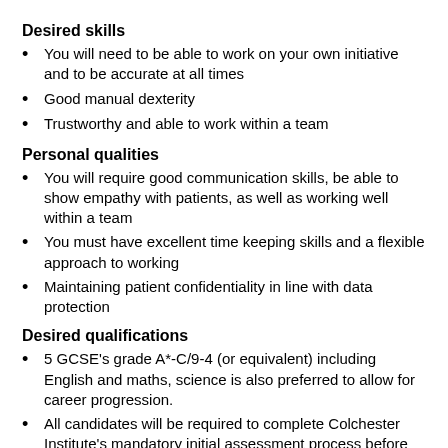Desired skills
You will need to be able to work on your own initiative and to be accurate at all times
Good manual dexterity
Trustworthy and able to work within a team
Personal qualities
You will require good communication skills, be able to show empathy with patients, as well as working well within a team
You must have excellent time keeping skills and a flexible approach to working
Maintaining patient confidentiality in line with data protection
Desired qualifications
5 GCSE's grade A*-C/9-4 (or equivalent) including English and maths, science is also preferred to allow for career progression.
All candidates will be required to complete Colchester Institute's mandatory initial assessment process before